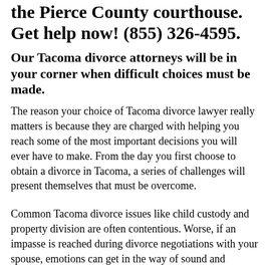the Pierce County courthouse. Get help now! (855) 326-4595.
Our Tacoma divorce attorneys will be in your corner when difficult choices must be made.
The reason your choice of Tacoma divorce lawyer really matters is because they are charged with helping you reach some of the most important decisions you will ever have to make. From the day you first choose to obtain a divorce in Tacoma, a series of challenges will present themselves that must be overcome.
Common Tacoma divorce issues like child custody and property division are often contentious. Worse, if an impasse is reached during divorce negotiations with your spouse, emotions can get in the way of sound and reasonable